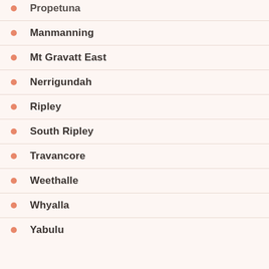Propetuna
Manmanning
Mt Gravatt East
Nerrigundah
Ripley
South Ripley
Travancore
Weethalle
Whyalla
Yabulu